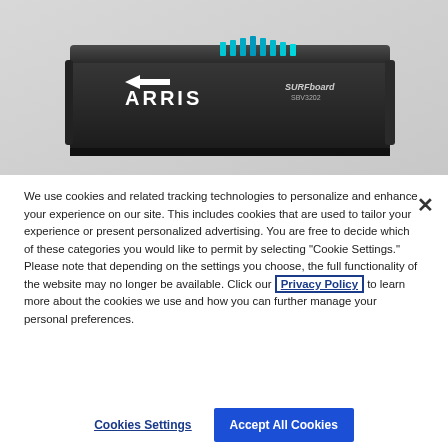[Figure (photo): ARRIS SURFboard SBV3202 cable modem device shown from a top-front angle. The device is black with the ARRIS logo and SURFboard SBV3202 branding visible. Teal/blue LED lights are visible on top.]
We use cookies and related tracking technologies to personalize and enhance your experience on our site. This includes cookies that are used to tailor your experience or present personalized advertising. You are free to decide which of these categories you would like to permit by selecting "Cookie Settings." Please note that depending on the settings you choose, the full functionality of the website may no longer be available. Click our Privacy Policy to learn more about the cookies we use and how you can further manage your personal preferences.
Cookies Settings
Accept All Cookies